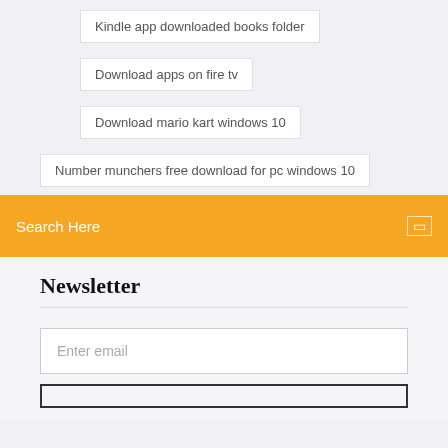Kindle app downloaded books folder
Download apps on fire tv
Download mario kart windows 10
Number munchers free download for pc windows 10
Search Here
Newsletter
Enter email